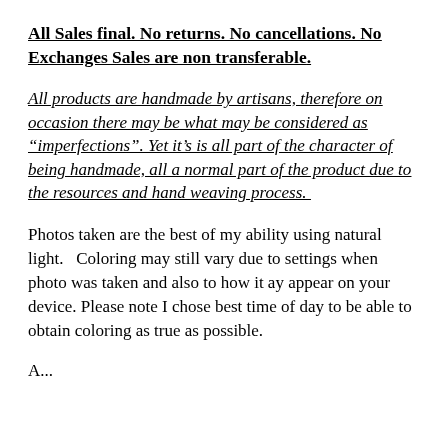All Sales final. No returns. No cancellations. No Exchanges Sales are non transferable.
All products are handmade by artisans, therefore on occasion there may be what may be considered as "imperfections". Yet it's is all part of the character of being handmade, all a normal part of the product due to the resources and hand weaving process.
Photos taken are the best of my ability using natural light.   Coloring may still vary due to settings when photo was taken and also to how it ay appear on your device. Please note I chose best time of day to be able to obtain coloring as true as possible.
An...